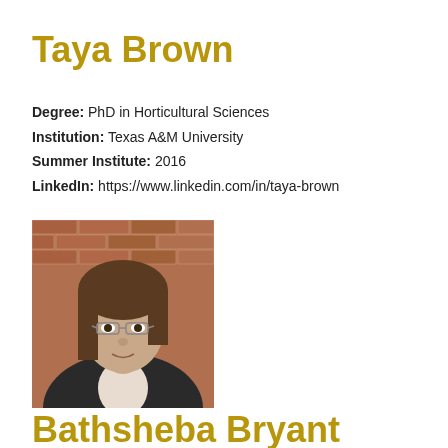Taya Brown
Degree: PhD in Horticultural Sciences
Institution: Texas A&M University
Summer Institute: 2016
LinkedIn: https://www.linkedin.com/in/taya-brown
[Figure (photo): Professional headshot of Taya Brown, a woman with shoulder-length brown hair and glasses, wearing a dark blazer, photographed in front of a brick wall.]
Bathsheba Bryant Torsch